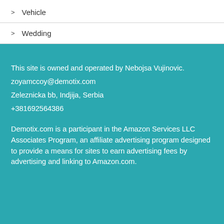> Vehicle
> Wedding
This site is owned and operated by Nebojsa Vujinovic.
zoyamccoy@demotix.com
Zeleznicka bb, Indjija, Serbia
+381692564386
Demotix.com is a participant in the Amazon Services LLC Associates Program, an affiliate advertising program designed to provide a means for sites to earn advertising fees by advertising and linking to Amazon.com.